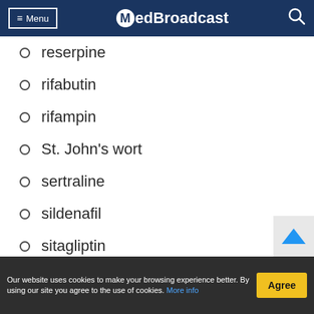Menu | MedBroadcast
reserpine
rifabutin
rifampin
St. John's wort
sertraline
sildenafil
sitagliptin
sitaxentan
siltuximab
Our website uses cookies to make your browsing experience better. By using our site you agree to the use of cookies. More info